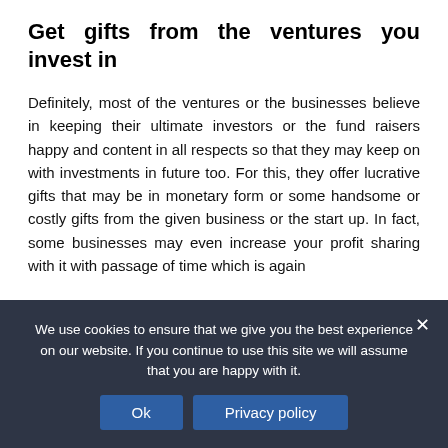Get gifts from the ventures you invest in
Definitely, most of the ventures or the businesses believe in keeping their ultimate investors or the fund raisers happy and content in all respects so that they may keep on with investments in future too. For this, they offer lucrative gifts that may be in monetary form or some handsome or costly gifts from the given business or the start up. In fact, some businesses may even increase your profit sharing with it with passage of time which is again
We use cookies to ensure that we give you the best experience on our website. If you continue to use this site we will assume that you are happy with it.